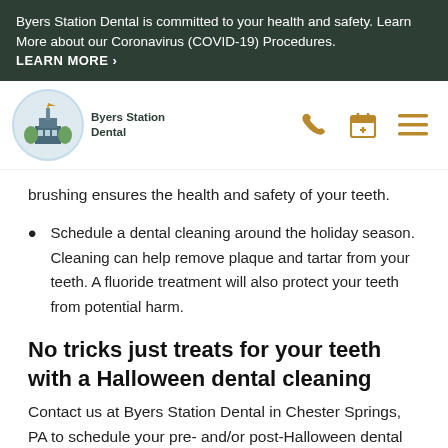Byers Station Dental is committed to your health and safety. Learn More about our Coronavirus (COVID-19) Procedures.
LEARN MORE >
[Figure (logo): Byers Station Dental logo — circular badge with illustrated building and weather vane, text 'Byers Station Dental']
[Figure (infographic): Navigation icons: phone, calendar with plus, hamburger menu — all in golden/amber color]
brushing ensures the health and safety of your teeth.
Schedule a dental cleaning around the holiday season. Cleaning can help remove plaque and tartar from your teeth. A fluoride treatment will also protect your teeth from potential harm.
No tricks just treats for your teeth with a Halloween dental cleaning
Contact us at Byers Station Dental in Chester Springs, PA to schedule your pre- and/or post-Halloween dental